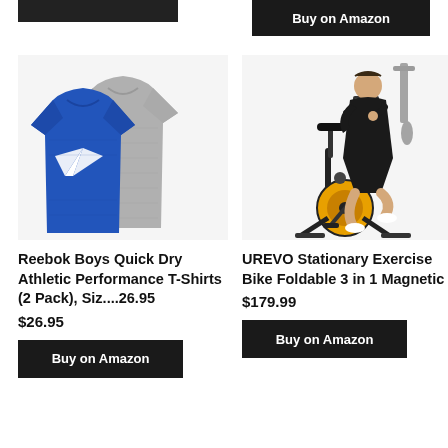[Figure (other): Partial dark bar / button at top left (cropped from previous section)]
[Figure (other): Buy on Amazon button at top right]
[Figure (photo): Two athletic t-shirts: one blue Reebok with logo, one gray heather performance shirt]
Reebok Boys Quick Dry Athletic Performance T-Shirts (2 Pack), Siz....26.95
$26.95
Buy on Amazon
[Figure (photo): Man riding a black and orange UREVO foldable stationary exercise bike; second exercise machine visible in background top right]
UREVO Stationary Exercise Bike Foldable 3 in 1 Magnetic
$179.99
Buy on Amazon